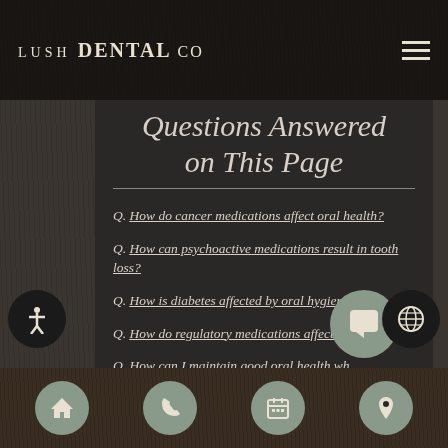LUSH DENTAL CO
Questions Answered on This Page
Q. How do cancer medications affect oral health?
Q. How can psychoactive medications result in tooth loss?
Q. How is diabetes affected by oral hygiene?
Q. How do regulatory medications affect oral health?
Q. How can I maintain good oral health while taking medication?